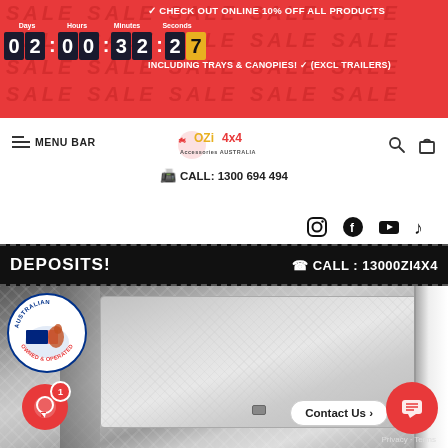✓ CHECK OUT ONLINE 10% OFF ALL PRODUCTS
02:00:32:27 INCLUDING TRAYS & CANOPIES! ✓ (EXCL TRAILERS)
≡ MENU BAR
[Figure (logo): OZi4x4 Accessories Australia logo]
☎ CALL: 1300 694 494
[Figure (infographic): Social media icons: Instagram, Facebook, YouTube, TikTok]
DEPOSITS! ☎ CALL : 13000ZI4X4
[Figure (photo): Aluminum checker plate canopy/toolbox on a ute tray with Australian Owned & Operated badge overlay, chat bubbles, and Contact Us button]